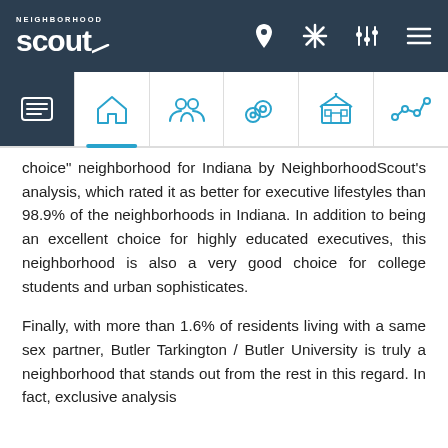[Figure (screenshot): NeighborhoodScout website top navigation bar with logo and icons]
[Figure (screenshot): Sub-navigation icon tabs: overview, home, people, crime, schools, market]
choice" neighborhood for Indiana by NeighborhoodScout's analysis, which rated it as better for executive lifestyles than 98.9% of the neighborhoods in Indiana. In addition to being an excellent choice for highly educated executives, this neighborhood is also a very good choice for college students and urban sophisticates.
Finally, with more than 1.6% of residents living with a same sex partner, Butler Tarkington / Butler University is truly a neighborhood that stands out from the rest in this regard. In fact, exclusive analysis